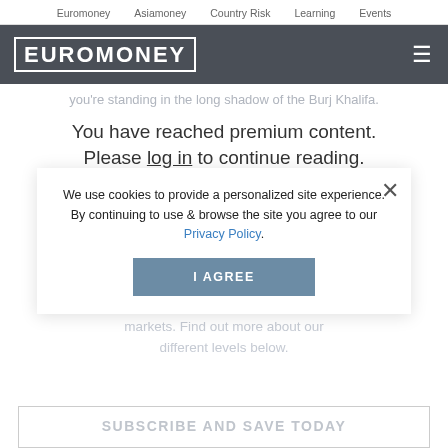Euromoney   Asiamoney   Country Risk   Learning   Events
EUROMONEY
you're standing in the long shadow of the Burj Khalifa.
You have reached premium content. Please log in to continue reading.
Read beyond the headlines with
Euromoney
We use cookies to provide a personalized site experience.
By continuing to use & browse the site you agree to our Privacy Policy.
For over 50 years, investors have looked to Euromoney to stay informed about the issues in international banking, financial markets. Find out more about our different levels below.
SUBSCRIBE AND SAVE TODAY